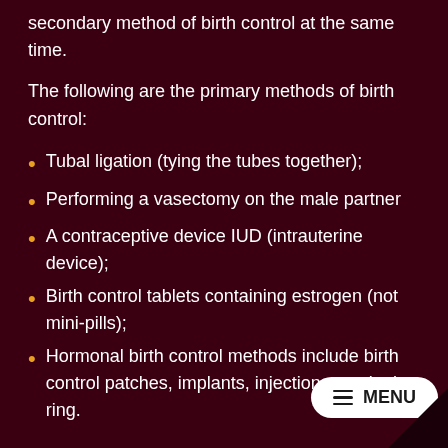secondary method of birth control at the same time.
The following are the primary methods of birth control:
Tubal ligation (tying the tubes together);
Performing a vasectomy on the male partner
A contraceptive device IUD (intrauterine device);
Birth control tablets containing estrogen (not mini-pills);
Hormonal birth control methods include birth control patches, implants, injections, vaginal ring.